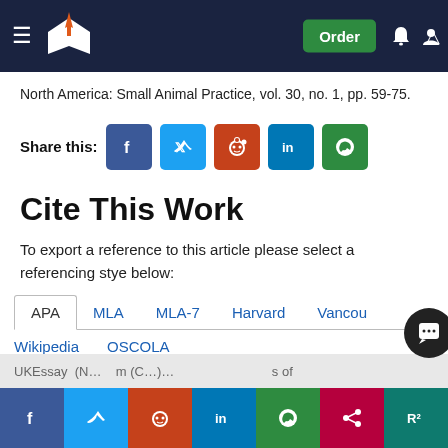UKEssays navigation bar with logo and Order button
North America: Small Animal Practice, vol. 30, no. 1, pp. 59-75.
Share this:
Cite This Work
To export a reference to this article please select a referencing stye below:
APA  MLA  MLA-7  Harvard  Vancouver
Wikipedia  OSCOLA
UKEssay (N... m (C...)... s of